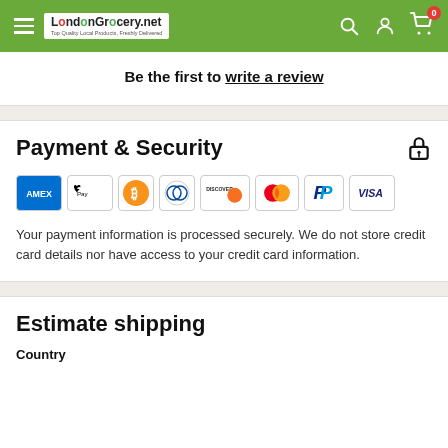LondonGrocery.net — Top Quality Local Products, Freshly Delivered
Be the first to write a review
Payment & Security
[Figure (logo): Payment method logos: American Express, Apple Pay, Bitcoin, Diners Club, Discover, Mastercard, PayPal, Visa]
Your payment information is processed securely. We do not store credit card details nor have access to your credit card information.
Estimate shipping
Country